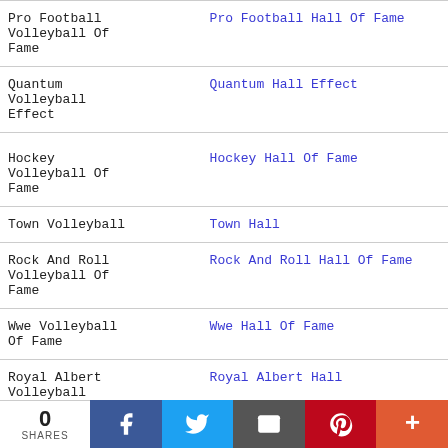| Search Term | Result |
| --- | --- |
| Pro Football Volleyball Of Fame | Pro Football Hall Of Fame |
| Quantum Volleyball Effect | Quantum Hall Effect |
| Hockey Volleyball Of Fame | Hockey Hall Of Fame |
| Town Volleyball | Town Hall |
| Rock And Roll Volleyball Of Fame | Rock And Roll Hall Of Fame |
| Wwe Volleyball Of Fame | Wwe Hall Of Fame |
| Royal Albert Volleyball | Royal Albert Hall |
0 SHARES | Facebook | Twitter | Email | Pinterest | More